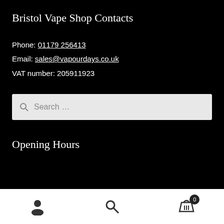Bristol Vape Shop Contacts
Phone: 01179 256413
Email: sales@vapourdays.co.uk
VAT number: 205911923
Opening Hours
0